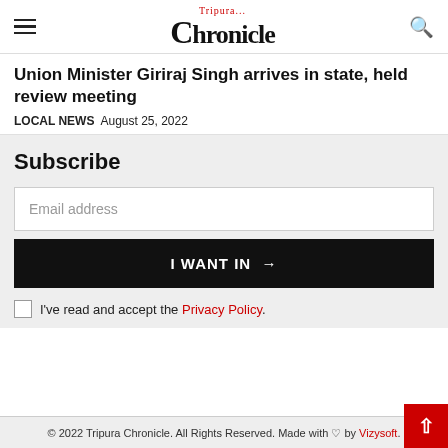Tripura Chronicle
Union Minister Giriraj Singh arrives in state, held review meeting
LOCAL NEWS  August 25, 2022
Subscribe
Email address
I WANT IN →
I've read and accept the Privacy Policy.
© 2022 Tripura Chronicle. All Rights Reserved. Made with ♡ by Vizysoft.